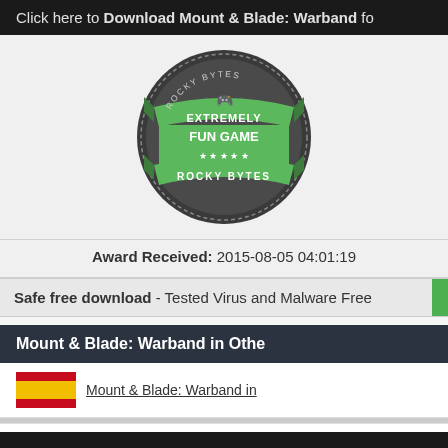Click here to Download Mount & Blade: Warband fo
[Figure (logo): Rocky Bytes badge — circular green and dark badge reading EXTREMELY FUN GAME with stars and Rocky Bytes branding]
Award Received: 2015-08-05 04:01:19
Safe free download - Tested Virus and Malware Free
Mount & Blade: Warband in Othe
Mount & Blade: Warband in
At the time of downloading Mount & Blade: Warband you accept the terms of use and privacy policy state download manager that provides an easier and safer download and installation of Mount & Blade: Warba of several safe and trusted 3rd party applications and browser plugins which you may choose to install or n